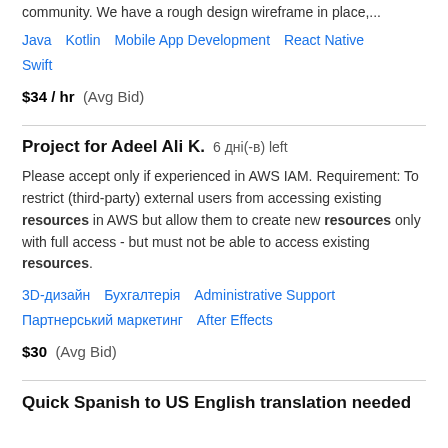community. We have a rough design wireframe in place,...
Java  Kotlin  Mobile App Development  React Native  Swift
$34 / hr  (Avg Bid)
Project for Adeel Ali K.  6 дні(-в) left
Please accept only if experienced in AWS IAM. Requirement: To restrict (third-party) external users from accessing existing resources in AWS but allow them to create new resources only with full access - but must not be able to access existing resources.
3D-дизайн  Бухгалтерія  Administrative Support  Партнерський маркетинг  After Effects
$30  (Avg Bid)
Quick Spanish to US English translation needed